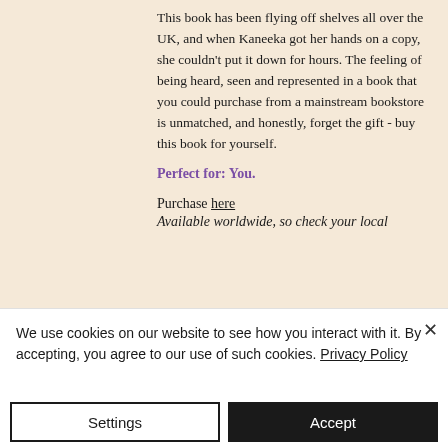This book has been flying off shelves all over the UK, and when Kaneeka got her hands on a copy, she couldn't put it down for hours. The feeling of being heard, seen and represented in a book that you could purchase from a mainstream bookstore is unmatched, and honestly, forget the gift - buy this book for yourself.
Perfect for: You.
Purchase here
Available worldwide, so check your local
We use cookies on our website to see how you interact with it. By accepting, you agree to our use of such cookies. Privacy Policy
Settings
Accept